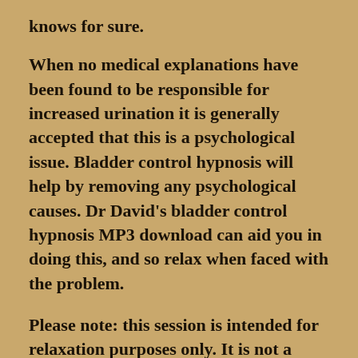knows for sure.
When no medical explanations have been found to be responsible for increased urination it is generally accepted that this is a psychological issue. Bladder control hypnosis will help by removing any psychological causes. Dr David’s bladder control hypnosis MP3 download can aid you in doing this, and so relax when faced with the problem.
Please note: this session is intended for relaxation purposes only. It is not a medical or therapeutic device and is not intended to diagnose, treat, cure or prevent any medical condition or disease.